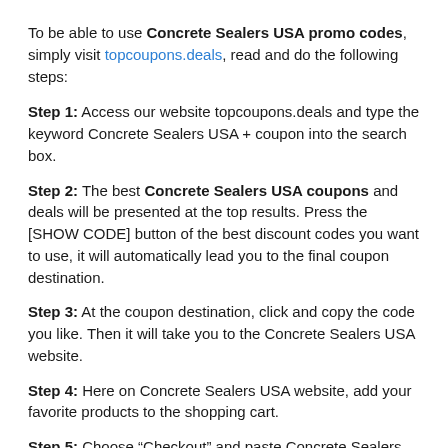To be able to use Concrete Sealers USA promo codes, simply visit topcoupons.deals, read and do the following steps:
Step 1: Access our website topcoupons.deals and type the keyword Concrete Sealers USA + coupon into the search box.
Step 2: The best Concrete Sealers USA coupons and deals will be presented at the top results. Press the [SHOW CODE] button of the best discount codes you want to use, it will automatically lead you to the final coupon destination.
Step 3: At the coupon destination, click and copy the code you like. Then it will take you to the Concrete Sealers USA website.
Step 4: Here on Concrete Sealers USA website, add your favorite products to the shopping cart.
Step 5: Choose “Checkout” and paste Concrete Sealers USA promo code which is available on the